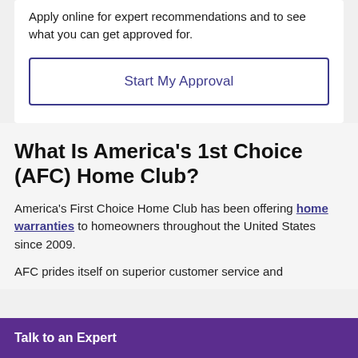Apply online for expert recommendations and to see what you can get approved for.
Start My Approval
What Is America's 1st Choice (AFC) Home Club?
America's First Choice Home Club has been offering home warranties to homeowners throughout the United States since 2009.
AFC prides itself on superior customer service and
Talk to an Expert